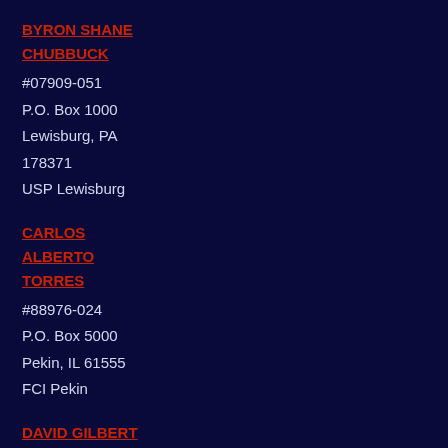BYRON SHANE CHUBBUCK
#07909-051
P.O. Box 1000
Lewisburg, PA
178371
USP Lewisburg
CARLOS ALBERTO TORRES
#88976-024
P.O. Box 5000
Pekin, IL 61555
FCI Pekin
DAVID GILBERT
#83-A-6158
P.O. Box 2001
Dannemora, NY